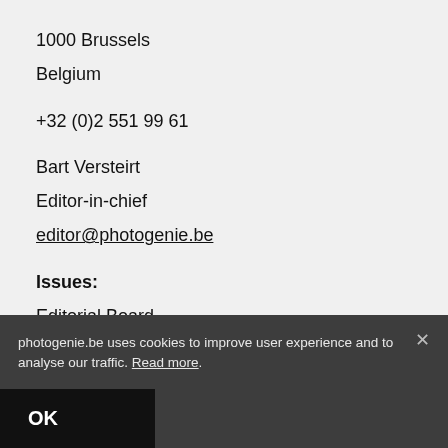1000 Brussels
Belgium
+32 (0)2 551 99 61
Bart Versteirt
Editor-in-chief
editor@photogenie.be
Issues:
Editorial Board
editorialboard@photogenie.be
photogenie.be uses cookies to improve user experience and to analyse our traffic. Read more.
OK